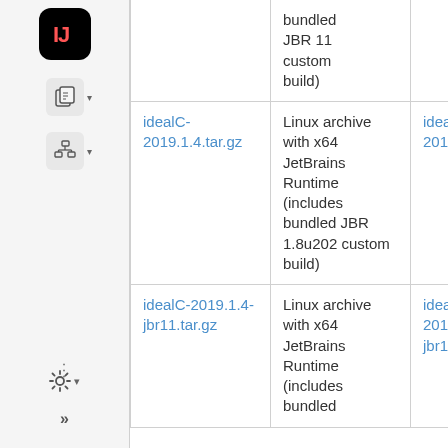[Figure (screenshot): IDE sidebar with IntelliJ IDEA logo icon, two toolbar icon buttons with dropdown arrows, ellipsis menu, gear/settings button, and double-chevron expand button]
| (bundled JBR 11 custom build) |  |  |
| idealC-2019.1.4.tar.gz | Linux archive with x64 JetBrains Runtime (includes bundled JBR 1.8u202 custom build) | idealC-2019.1.4.tar.gz.sha2 |
| idealC-2019.1.4-jbr11.tar.gz | Linux archive with x64 JetBrains Runtime (includes bundled | idealC-2019.1.4-jbr11.tar.gz.sha256 |